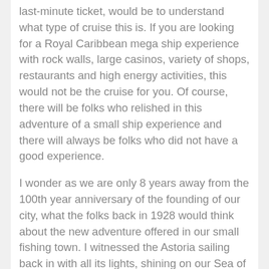last-minute ticket, would be to understand what type of cruise this is. If you are looking for a Royal Caribbean mega ship experience with rock walls, large casinos, variety of shops, restaurants and high energy activities, this would not be the cruise for you. Of course, there will be folks who relished in this adventure of a small ship experience and there will always be folks who did not have a good experience.
I wonder as we are only 8 years away from the 100th year anniversary of the founding of our city, what the folks back in 1928 would think about the new adventure offered in our small fishing town. I witnessed the Astoria sailing back in with all its lights, shining on our Sea of Cortez, and couldn't stop taking photos. This lighted, historic, over 70-year old ship, glided in like a beautiful lady and docked out in front of Esmerelda. It was an exciting sight to see!